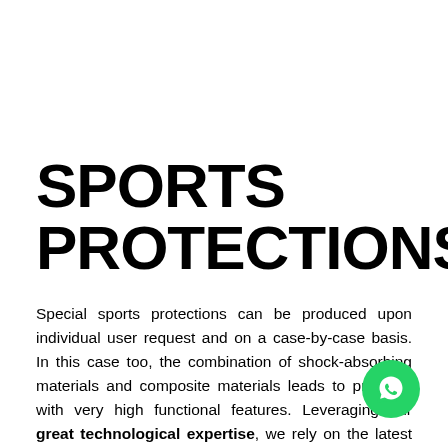SPORTS PROTECTIONS
Special sports protections can be produced upon individual user request and on a case-by-case basis. In this case too, the combination of shock-absorbing materials and composite materials leads to products with very high functional features. Leveraging our great technological expertise, we rely on the latest 3D scanning equipment to accurately map the body, attaching protected...